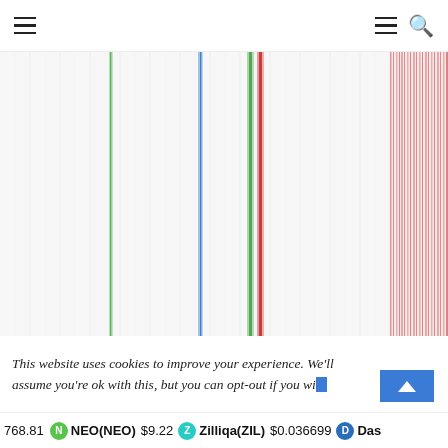Navigation header with hamburger menus and search icon
[Figure (other): Cryptocurrency price chart showing multiple colored vertical bar lines (green, blue, green, red, and multiple red/salmon stripes) on a light gray/white background. The chart appears to show historical price data with tall vertical colored lines at various x-axis positions indicating significant price moves.]
This website uses cookies to improve your experience. We'll assume you're ok with this, but you can opt-out if you wi...
768.81  NEO(NEO) $9.22  Zilliqa(ZIL) $0.036699  Das...